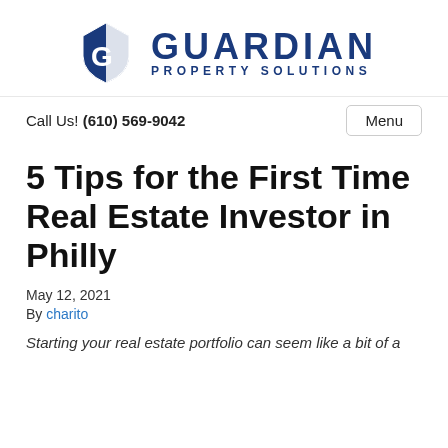[Figure (logo): Guardian Property Solutions logo with blue shield icon and company name]
Call Us! (610) 569-9042
5 Tips for the First Time Real Estate Investor in Philly
May 12, 2021
By charito
Starting your real estate portfolio can seem like a bit of a